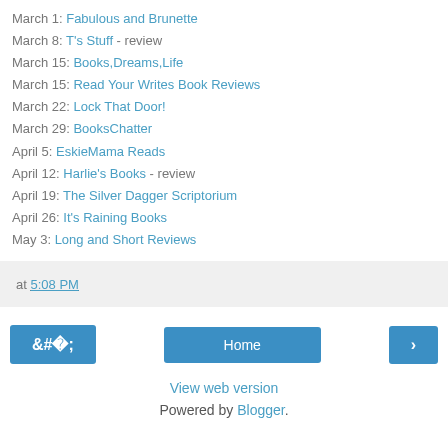March 1: Fabulous and Brunette
March 8: T's Stuff - review
March 15: Books,Dreams,Life
March 15: Read Your Writes Book Reviews
March 22: Lock That Door!
March 29: BooksChatter
April 5: EskieMama Reads
April 12: Harlie's Books - review
April 19: The Silver Dagger Scriptorium
April 26: It's Raining Books
May 3: Long and Short Reviews
at 5:08 PM
Home | View web version | Powered by Blogger.